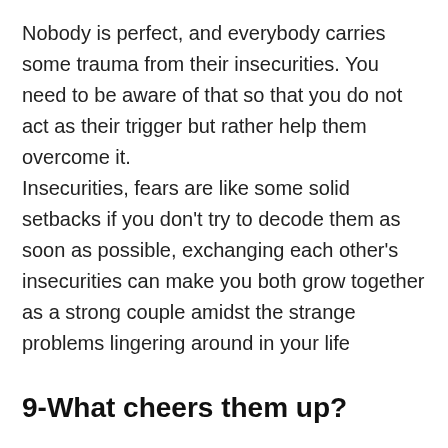Nobody is perfect, and everybody carries some trauma from their insecurities. You need to be aware of that so that you do not act as their trigger but rather help them overcome it.
Insecurities, fears are like some solid setbacks if you don't try to decode them as soon as possible, exchanging each other's insecurities can make you both grow together as a strong couple amidst the strange problems lingering around in your life
9-What cheers them up?
After a long tiring day, what is it that brings a smile to their face when they come home and you are there?